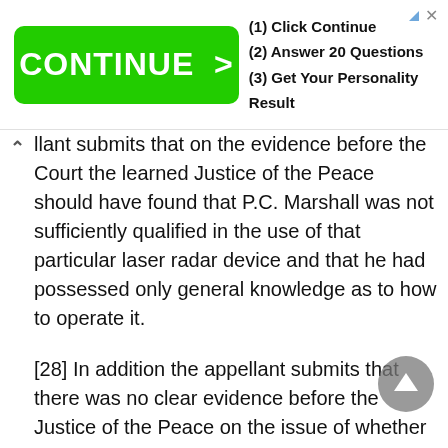[Figure (screenshot): Advertisement banner: green 'CONTINUE >' button on left, three steps on right: (1) Click Continue, (2) Answer 20 Questions, (3) Get Your Personality Result]
llant submits that on the evidence before the Court the learned Justice of the Peace should have found that P.C. Marshall was not sufficiently qualified in the use of that particular laser radar device and that he had possessed only general knowledge as to how to operate it.
[28] In addition the appellant submits that there was no clear evidence before the Justice of the Peace on the issue of whether or not the officer had tested the unit or the manner in which he had tested it and when he had tested it. The appellant submits that P.C. Marshall himself testified that he had no recollection of the incident and had made many mistakes in his notes. As well he had no familiarity with the manual and no memory as to another car possibly interfering with the registration of the appellant's speed on the